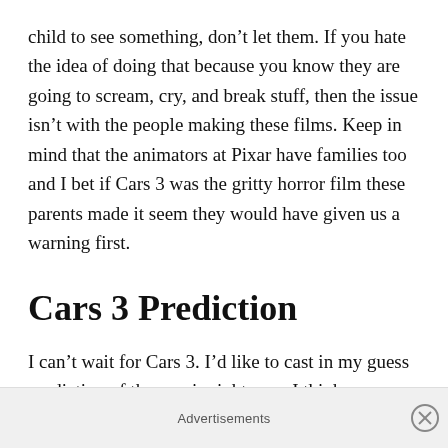child to see something, don't let them. If you hate the idea of doing that because you know they are going to scream, cry, and break stuff, then the issue isn't with the people making these films. Keep in mind that the animators at Pixar have families too and I bet if Cars 3 was the gritty horror film these parents made it seem they would have given us a warning first.
Cars 3 Prediction
I can't wait for Cars 3. I'd like to cast in my guess prediction of the movie right now. I think McQueen will be up against new-age race cars running on electric or
Advertisements